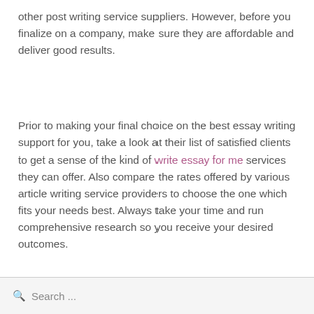other post writing service suppliers. However, before you finalize on a company, make sure they are affordable and deliver good results.
Prior to making your final choice on the best essay writing support for you, take a look at their list of satisfied clients to get a sense of the kind of write essay for me services they can offer. Also compare the rates offered by various article writing service providers to choose the one which fits your needs best. Always take your time and run comprehensive research so you receive your desired outcomes.
Search ...